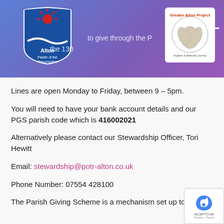[Figure (logo): Alton Parish of the Resurrection logo - blue shield with red sunburst and white wave]
[Figure (logo): Greater Alton Project logo - white box with circular shell/hands emblem and red text]
Lines are open Monday to Friday, between 9 – 5pm.
You will need to have your bank account details and our PGS parish code which is 416002021
Alternatively please contact our Stewardship Officer, Tori Hewitt
Email: stewardship@potr-alton.co.uk
Phone Number: 07554 428100
The Parish Giving Scheme is a mechanism set up to help